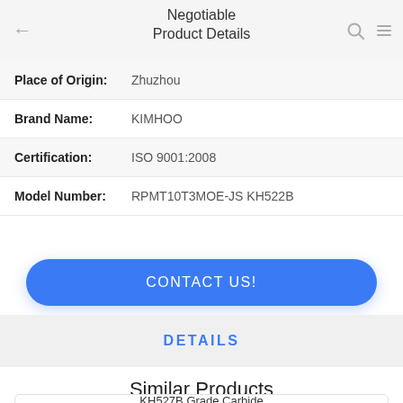Negotiable Product Details
| Place of Origin: | Zhuzhou |
| Brand Name: | KIMHOO |
| Certification: | ISO 9001:2008 |
| Model Number: | RPMT10T3MOE-JS KH522B |
CONTACT US!
DETAILS
Similar Products
KH527B Grade Carbide